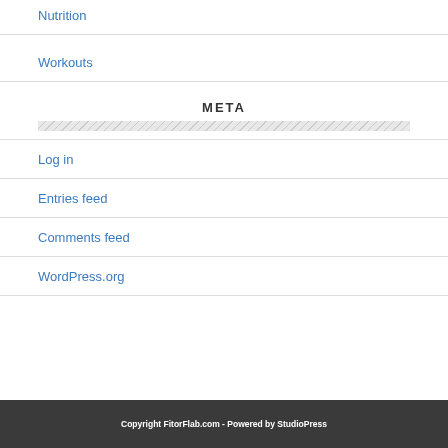Nutrition
Workouts
META
Log in
Entries feed
Comments feed
WordPress.org
Copyright FitorFlab.com - Powered by StudioPress